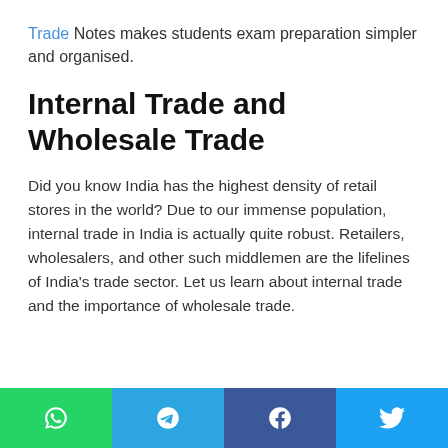Trade Notes makes students exam preparation simpler and organised.
Internal Trade and Wholesale Trade
Did you know India has the highest density of retail stores in the world? Due to our immense population, internal trade in India is actually quite robust. Retailers, wholesalers, and other such middlemen are the lifelines of India's trade sector. Let us learn about internal trade and the importance of wholesale trade.
[Figure (infographic): Social share buttons row: WhatsApp (green), Telegram (blue), Facebook (dark blue), Twitter (light blue), each with respective icons]